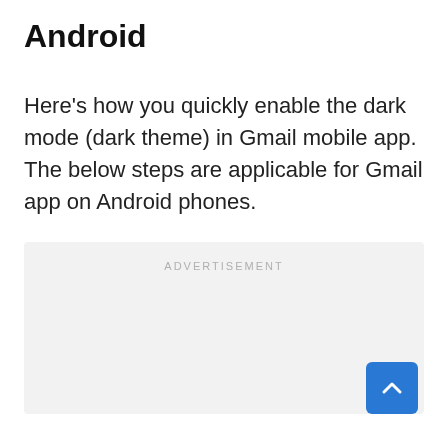Android
Here's how you quickly enable the dark mode (dark theme) in Gmail mobile app. The below steps are applicable for Gmail app on Android phones.
[Figure (other): Advertisement placeholder box with grey background and 'ADVERTISEMENT' label text centered at top]
[Figure (other): Blue scroll-to-top button with upward chevron arrow, positioned bottom-right corner]